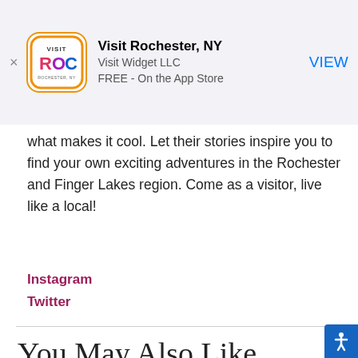[Figure (screenshot): App Store advertisement banner for 'Visit Rochester, NY' app by Visit Widget LLC, FREE on the App Store, with orange ROC logo icon and blue VIEW button]
what makes it cool. Let their stories inspire you to find your own exciting adventures in the Rochester and Finger Lakes region. Come as a visitor, live like a local!
Instagram
Twitter
You May Also Like
[Figure (photo): Photo of a bowl of pho or Asian soup with herbs, garnishes including mint leaves and red chili pepper]
[Figure (photo): Photo of a waterway or canal at sunset with a boat and trees along the shore]